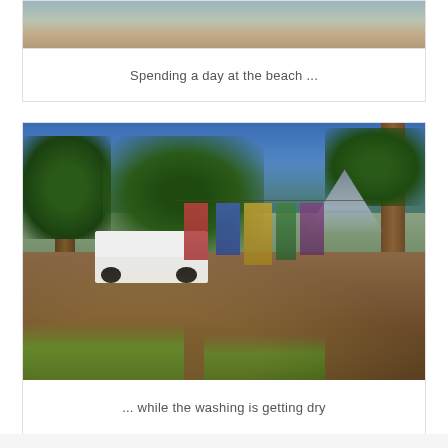[Figure (photo): Partial view of a beach scene with sandy ground and water visible at the top of the page (cropped from previous page)]
Spending a day at the beach ...
[Figure (photo): A motorhome/camper van parked at a campsite with colorful laundry hanging on a clothesline between trees. Blue sky, green trees, and a mountain visible in the background. Dappled sunlight on the ground.]
... while the washing is getting dry